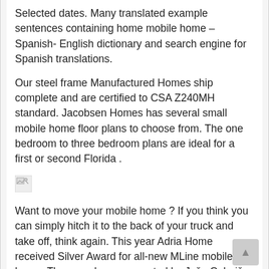Selected dates. Many translated example sentences containing home mobile home – Spanish- English dictionary and search engine for Spanish translations.
Our steel frame Manufactured Homes ship complete and are certified to CSA Z240MH standard. Jacobsen Homes has several small mobile home floor plans to choose from. The one bedroom to three bedroom plans are ideal for a first or second Florida .
[Figure (other): Broken image placeholder icon]
Want to move your mobile home ? If you think you can simply hitch it to the back of your truck and take off, think again. This year Adria Home received Silver Award for all-new MLine mobile home. The award was presented by Jože Colarič, President of the Management Board . With our latest range of designer mobile homes and innovative glamping accommodation there is bound to be the perfect holiday accommodation solution for . Back in the day, a